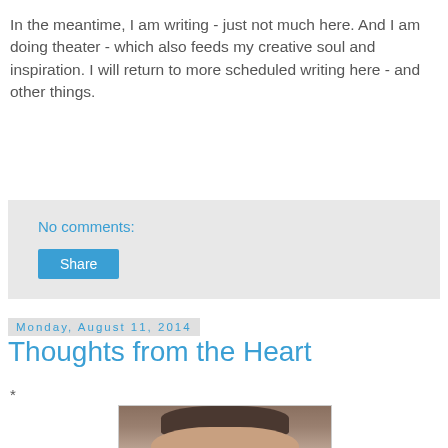In the meantime, I am writing - just not much here. And I am doing theater - which also feeds my creative soul and inspiration. I will return to more scheduled writing here - and other things.
No comments:
Share
Monday, August 11, 2014
Thoughts from the Heart
*
[Figure (photo): Portrait photo of a man, partially visible, showing top of head and hair against a neutral background]